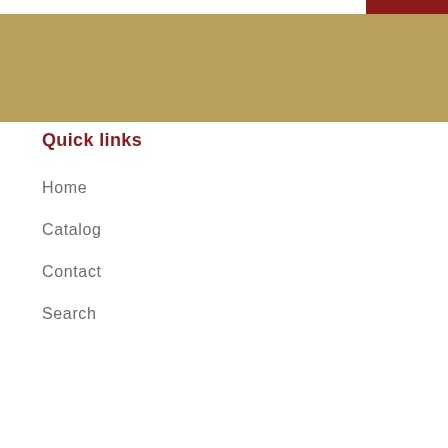[Figure (other): Gold/tan colored banner header area with a white search bar strip and dark red accent block at top]
Quick links
Home
Catalog
Contact
Search